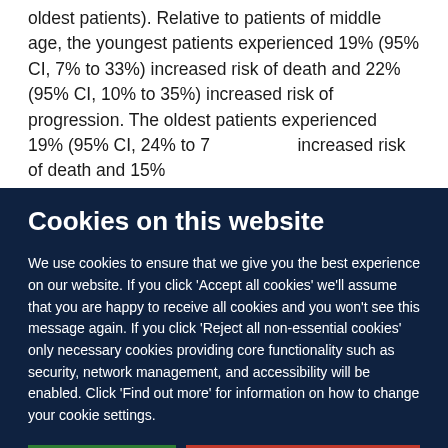oldest patients). Relative to patients of middle age, the youngest patients experienced 19% (95% CI, 7% to 33%) increased risk of death and 22% (95% CI, 10% to 35%) increased risk of progression. The oldest patients experienced 19% (95% CI, 24% to 74%) increased risk of death and 15%...
Cookies on this website
We use cookies to ensure that we give you the best experience on our website. If you click 'Accept all cookies' we'll assume that you are happy to receive all cookies and you won't see this message again. If you click 'Reject all non-essential cookies' only necessary cookies providing core functionality such as security, network management, and accessibility will be enabled. Click 'Find out more' for information on how to change your cookie settings.